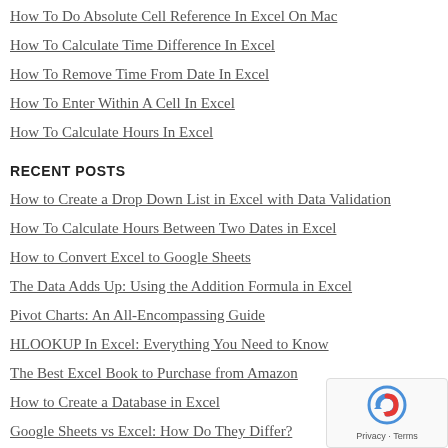How To Do Absolute Cell Reference In Excel On Mac
How To Calculate Time Difference In Excel
How To Remove Time From Date In Excel
How To Enter Within A Cell In Excel
How To Calculate Hours In Excel
RECENT POSTS
How to Create a Drop Down List in Excel with Data Validation
How To Calculate Hours Between Two Dates in Excel
How to Convert Excel to Google Sheets
The Data Adds Up: Using the Addition Formula in Excel
Pivot Charts: An All-Encompassing Guide
HLOOKUP In Excel: Everything You Need to Know
The Best Excel Book to Purchase from Amazon
How to Create a Database in Excel
Google Sheets vs Excel: How Do They Differ?